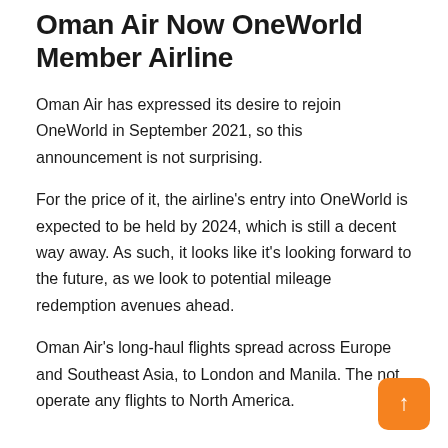Oman Air Now OneWorld Member Airline
Oman Air has expressed its desire to rejoin OneWorld in September 2021, so this announcement is not surprising.
For the price of it, the airline's entry into OneWorld is expected to be held by 2024, which is still a decent way away. As such, it looks like it's looking forward to the future, as we look to potential mileage redemption avenues ahead.
Oman Air's long-haul flights spread across Europe and Southeast Asia, to London and Manila. The not operate any flights to North America.